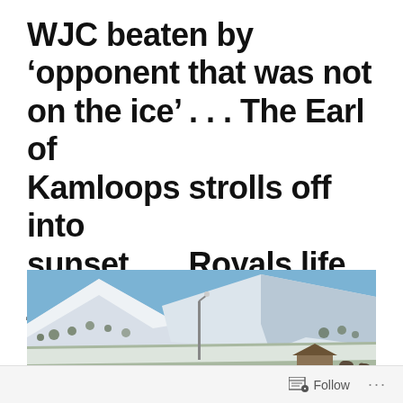WJC beaten by ‘opponent that was not on the ice’ . . . The Earl of Kamloops strolls off into sunset . . . Royals life just Peachy in Victoria
[Figure (photo): Snow-covered hillside with sparse shrubs and brush under a blue sky. A street lamp is visible in the center. A small wooden structure is at the lower right with what appear to be deer nearby.]
Follow ...